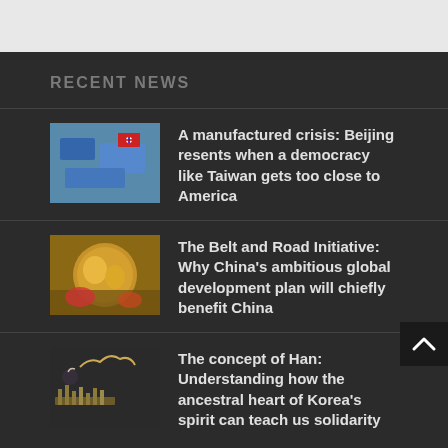RECENT NEWS
A manufactured crisis: Beijing resents when a democracy like Taiwan gets too close to America
The Belt and Road Initiative: Why China's ambitious global development plan will chiefly benefit China
The concept of Han: Understanding how the ancestral heart of Korea's spirit can teach us solidarity